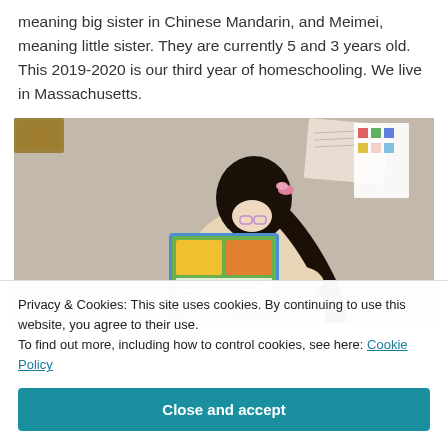meaning big sister in Chinese Mandarin, and Meimei, meaning little sister. They are currently 5 and 3 years old. This 2019-2020 is our third year of homeschooling. We live in Massachusetts.
[Figure (photo): Overhead view of a young girl with dark hair in a ponytail, wearing glasses and a light-colored top, sitting on a carpeted floor and reading a colorful book.]
Privacy & Cookies: This site uses cookies. By continuing to use this website, you agree to their use.
To find out more, including how to control cookies, see here: Cookie Policy
Close and accept